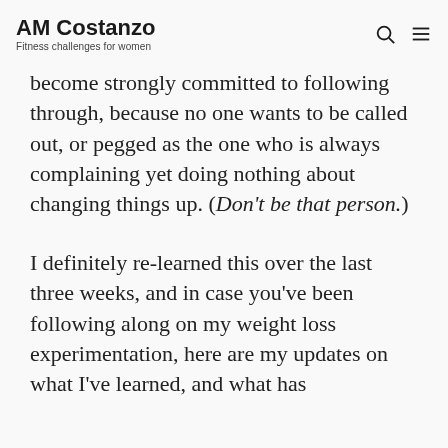AM Costanzo — Fitness challenges for women
become strongly committed to following through, because no one wants to be called out, or pegged as the one who is always complaining yet doing nothing about changing things up. (Don't be that person.)
I definitely re-learned this over the last three weeks, and in case you've been following along on my weight loss experimentation, here are my updates on what I've learned, and what has